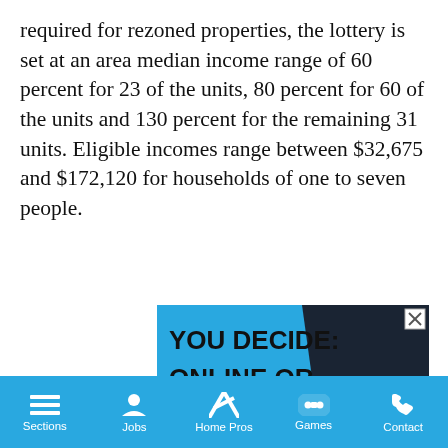required for rezoned properties, the lottery is set at an area median income range of 60 percent for 23 of the units, 80 percent for 60 of the units and 130 percent for the remaining 31 units. Eligible incomes range between $32,675 and $172,120 for households of one to seven people.
[Figure (illustration): Advertisement for Touro University New York School of Career & Applied Studies. Blue and dark navy background with bold text reading 'YOU DECIDE: ONLINE OR IN-PERSON'. Touro University logo at bottom with school name.]
Sections | Jobs | Home Pros | Games | Contact